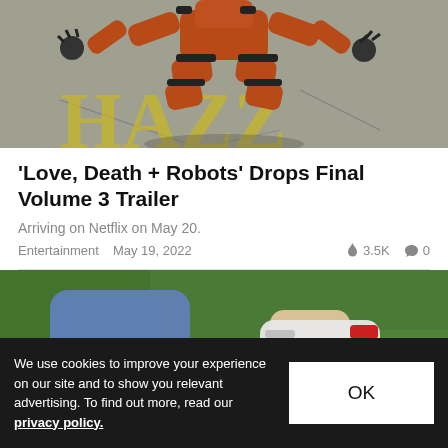[Figure (photo): Robot figure with orange/brown segmented limbs standing on cracked asphalt with yellow painted markings]
'Love, Death + Robots' Drops Final Volume 3 Trailer
Arriving on Netflix on May 20.
Entertainment   May 19, 2022   🔥 3.5K   💬 0
[Figure (photo): Person wearing Nike socks and jeans lacing sneakers on grass]
We use cookies to improve your experience on our site and to show you relevant advertising. To find out more, read our privacy policy.